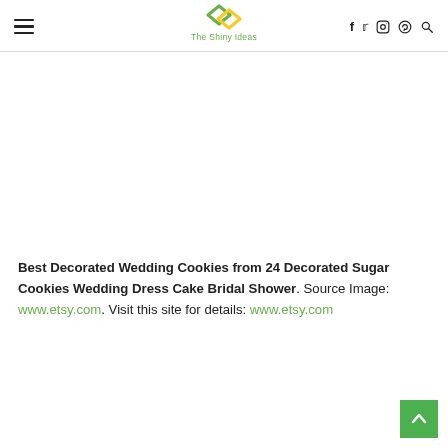The Shiny Ideas — navigation header with hamburger menu, logo, and social icons (f, twitter, instagram, pinterest, search)
[Figure (other): Large white/blank advertisement or image area below the header]
Best Decorated Wedding Cookies from 24 Decorated Sugar Cookies Wedding Dress Cake Bridal Shower. Source Image: www.etsy.com. Visit this site for details: www.etsy.com